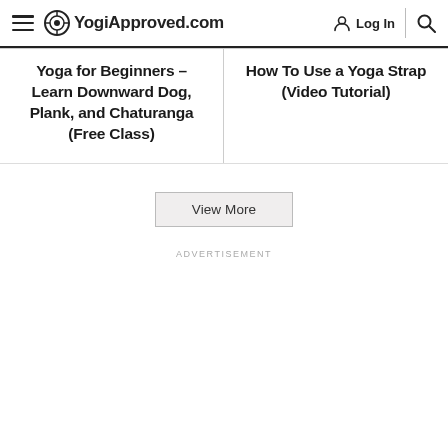YogiApproved.com — Log In
Yoga for Beginners – Learn Downward Dog, Plank, and Chaturanga (Free Class)
How To Use a Yoga Strap (Video Tutorial)
View More
ADVERTISEMENT